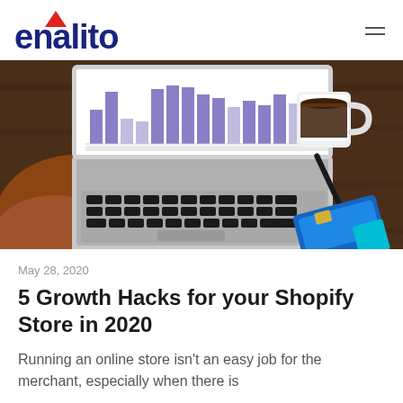enalito
[Figure (photo): Person with red hair viewed from behind, working on a laptop showing a bar chart dashboard, with a white coffee mug and a blue credit card on a dark wooden desk.]
May 28, 2020
5 Growth Hacks for your Shopify Store in 2020
Running an online store isn't an easy job for the merchant, especially when there is